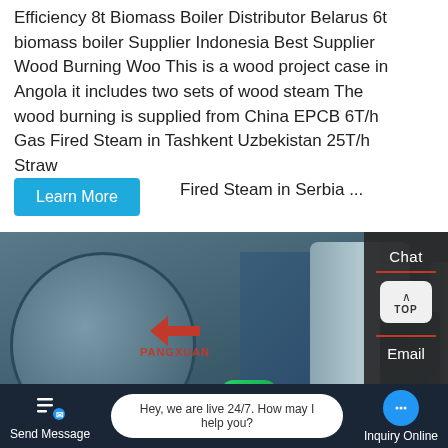Efficiency 8t Biomass Boiler Distributor Belarus 6t biomass boiler Supplier Indonesia Best Supplier Wood Burning Woo This is a wood project case in Angola it includes two sets of wood steam The wood burning is supplied from China EPCB 6T/h Gas Fired Steam in Tashkent Uzbekistan 25T/h Straw Fired Steam in Serbia ...
Learn More
[Figure (photo): Industrial biomass boiler machinery with blue drum, PANGXUAN logo, cylindrical tanks and blue metal box in a workshop setting. WhatsApp contact bubble overlay showing 'Contact us now!' with green WhatsApp icon.]
Chat
TOP
Email
Contact us now!
Hey, we are live 24/7. How may I help you?
Send Message
Inquiry Online